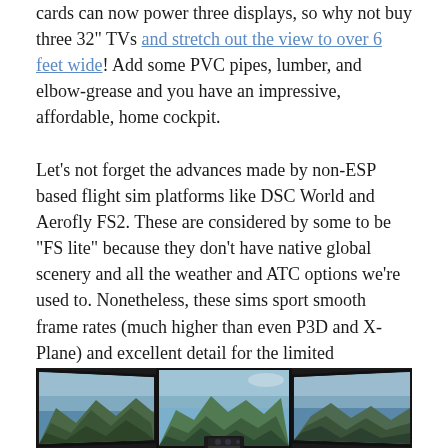cards can now power three displays, so why not buy three 32" TVs and stretch out the view to over 6 feet wide! Add some PVC pipes, lumber, and elbow-grease and you have an impressive, affordable, home cockpit.
Let’s not forget the advances made by non-ESP based flight sim platforms like DSC World and Aerofly FS2. These are considered by some to be “FS lite” because they don’t have native global scenery and all the weather and ATC options we’re used to. Nonetheless, these sims sport smooth frame rates (much higher than even P3D and X-Plane) and excellent detail for the limited geography they offer. DCS World and Aerofly FS2 also have beautifully rendered aircraft. You’ll find the higher fidelity aircraft in DCS World as compared to FS2.
[Figure (photo): Three monitors arranged in a wide panoramic setup showing a flight simulator view of mountainous terrain. The center monitor faces forward while the left and right monitors are angled outward. A small instrument panel is visible at the bottom center.]